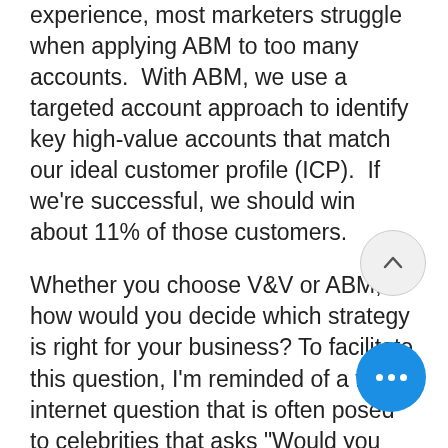experience, most marketers struggle when applying ABM to too many accounts.  With ABM, we use a targeted account approach to identify key high-value accounts that match our ideal customer profile (ICP).  If we're successful, we should win about 11% of those customers.
Whether you choose V&V or ABM, how would you decide which strategy is right for your business? To facilitate this question, I'm reminded of a fun internet question that is often posed to celebrities that asks "Would you rather fight 100 duck-sized horses or a horse-sized duck?  There of course is no right answer. And, much like in marketing, a V&V strategy (100 duck-sized horses) can work to grow your business and ABM (one horse-sized